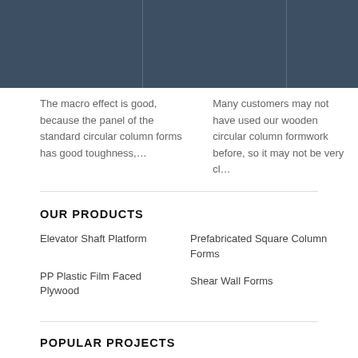[Figure (other): Dark blue-grey header bar divided into columns]
The macro effect is good, because the panel of the standard circular column forms has good toughness,…
Many customers may not have used our wooden circular column formwork before, so it may not be very cl…
OUR PRODUCTS
Elevator Shaft Platform
Prefabricated Square Column Forms
PP Plastic Film Faced Plywood
Shear Wall Forms
POPULAR PROJECTS
BOE Chengdu New Project
Zhejiang Shenkeng Hotel Project